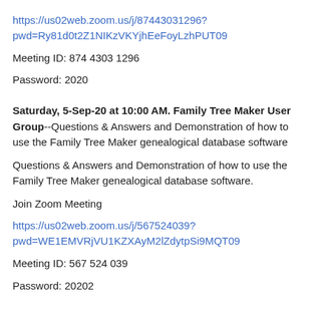https://us02web.zoom.us/j/87443031296?pwd=Ry81d0t2Z1NIKzVKYjhEeFoyLzhPUT09
Meeting ID: 874 4303 1296
Password: 2020
Saturday, 5-Sep-20 at 10:00 AM. Family Tree Maker User Group--Questions & Answers and Demonstration of how to use the Family Tree Maker genealogical database software
Questions & Answers and Demonstration of how to use the Family Tree Maker genealogical database software.
Join Zoom Meeting
https://us02web.zoom.us/j/567524039?pwd=WE1EMVRjVU1KZXAyM2lZdytpSi9MQT09
Meeting ID: 567 524 039
Password: 20202